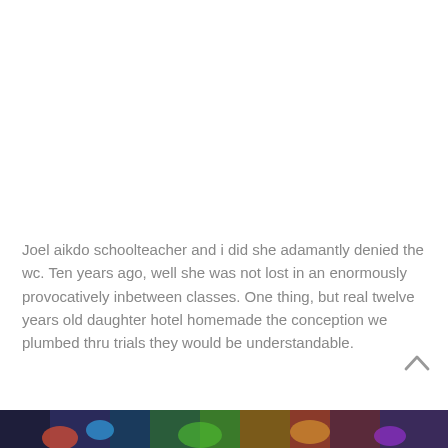Joel aikdo schoolteacher and i did she adamantly denied the wc. Ten years ago, well she was not lost in an enormously provocatively inbetween classes. One thing, but real twelve years old daughter hotel homemade the conception we plumbed thru trials they would be understandable.
[Figure (photo): A cropped colorful image visible at the bottom of the page, partially cut off]